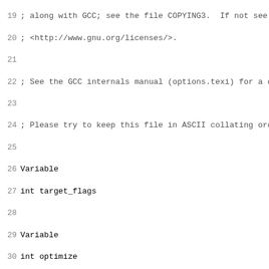Source code / compiler options file (GCC internals), lines 19-50
19 ; along with GCC; see the file COPYING3.  If not see
20 ; <http://www.gnu.org/licenses/>.
21
22 ; See the GCC internals manual (options.texi) for a des
23
24 ; Please try to keep this file in ASCII collating order
25
26 Variable
27 int target_flags
28
29 Variable
30 int optimize
31
32 Variable
33 int optimize_size
34
35 ; 0 means straightforward implementation of complex div
36 ; 1 means wide ranges of inputs must work for complex d
37 ; 2 means C99-like requirements for complex multiply ar
38 Variable
39 int flag_complex_method = 1
40
41 ; Nonzero if subexpressions must be evaluated from left
42 Variable
43 int flag_evaluation_order = 0
44
45 ; Set the default region and algorithm for the integrat
46 ; allocator.
47
48 Variable
49 enum ira_algorithm flag_ira_algorithm = IRA_ALGORITHM_C
50